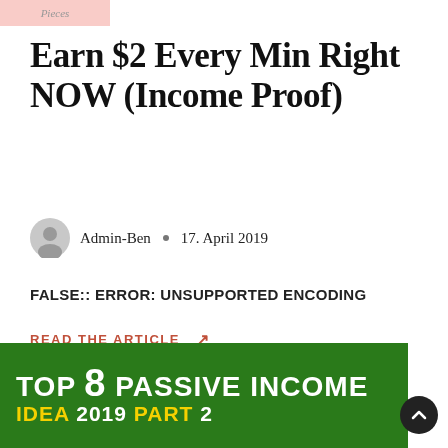Pieces
Earn $2 Every Min Right NOW (Income Proof)
Admin-Ben • 17. April 2019
FALSE:: ERROR: UNSUPPORTED ENCODING
READ THE ARTICLE ↗
[Figure (photo): Banner image with green background reading 'TOP 8 PASSIVE INCOME IDEAS 2019 PART 2' in white and yellow bold text]